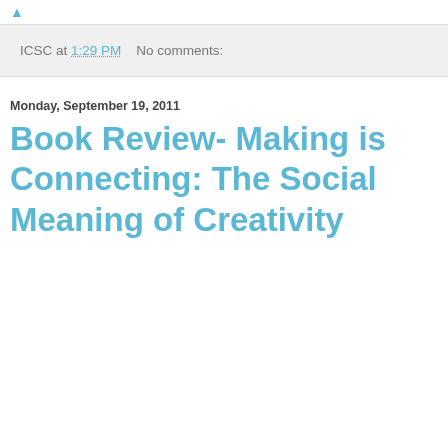ICSC at 1:29 PM    No comments:
Monday, September 19, 2011
Book Review- Making is Connecting: The Social Meaning of Creativity